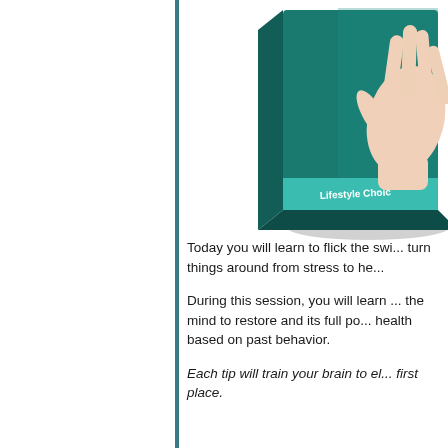[Figure (photo): A book/product box with teal/green cover showing a hand with palm facing outward, labeled 'Lifestyle Choice' at the bottom, partially cropped at the right edge of the page.]
Today you will learn to flick the switch and turn things around from stress to he...
During this session, you will learn ... the mind to restore and its full po... health based on past behavior.
Each tip will train your brain to el... first place.